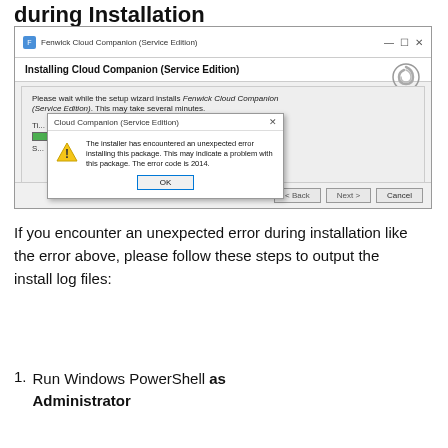during Installation
[Figure (screenshot): Windows installer dialog for Fenwick Cloud Companion (Service Edition) showing an unexpected error dialog with error code 2014. The error dialog reads: 'The installer has encountered an unexpected error installing this package. This may indicate a problem with this package. The error code is 2014.' with an OK button.]
If you encounter an unexpected error during installation like the error above, please follow these steps to output the install log files:
Run Windows PowerShell as Administrator